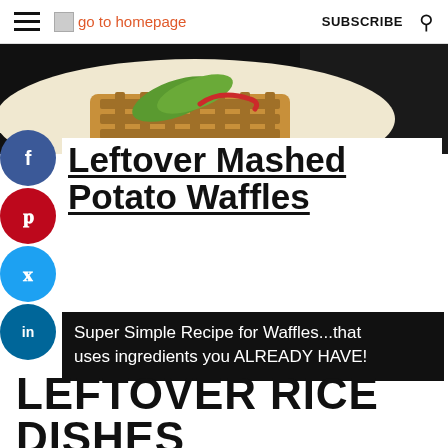go to homepage | SUBSCRIBE
[Figure (photo): Food photo showing waffles with avocado and sauce on a white plate with dark background]
Leftover Mashed Potato Waffles
Super Simple Recipe for Waffles...that uses ingredients you ALREADY HAVE!
LEFTOVER RICE DISHES